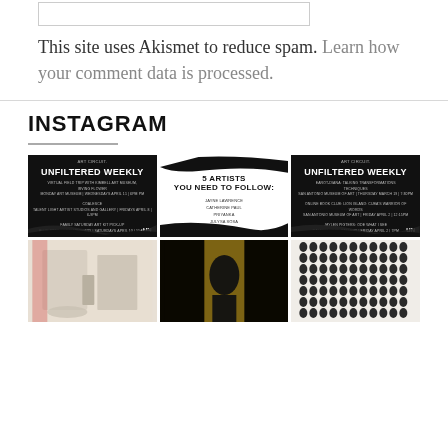[Figure (other): White input/text box field at top]
This site uses Akismet to reduce spam. Learn how your comment data is processed.
INSTAGRAM
[Figure (infographic): Grid of 6 Instagram posts: 3 top row (two Unfiltered Weekly black cards and one 5 Artists list card), 3 bottom row (white room photo, dark figure photo, grid of portrait photos)]